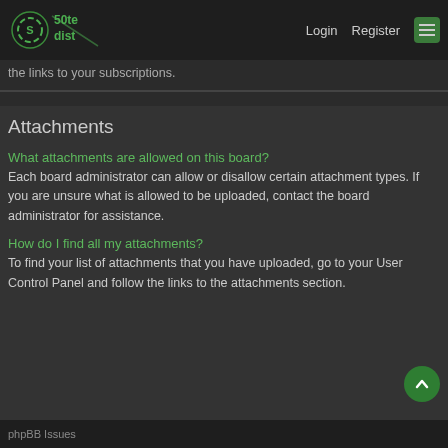[Figure (logo): Site logo with stylized text and green icon]
Login   Register  ☰
the links to your subscriptions.
Attachments
What attachments are allowed on this board?
Each board administrator can allow or disallow certain attachment types. If you are unsure what is allowed to be uploaded, contact the board administrator for assistance.
How do I find all my attachments?
To find your list of attachments that you have uploaded, go to your User Control Panel and follow the links to the attachments section.
phpBB Issues